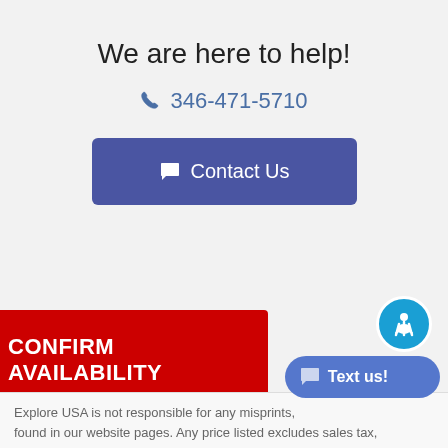We are here to help!
📞 346-471-5710
💬 Contact Us
CONFIRM AVAILABILITY
💬 Text us!
Explore USA is not responsible for any misprints, found in our website pages. Any price listed excludes sales tax,